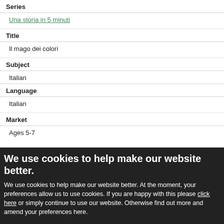Series
Una storia in 5 minuti
Title
Il mago dei colori
Subject
Italian
Language
Italian
Market
Ages 5-7
We use cookies to help make our website better. We use cookies to help make our website better. At the moment, your preferences allow us to use cookies. If you are happy with this please click here or simply continue to use our website. Otherwise find out more and amend your preferences here.